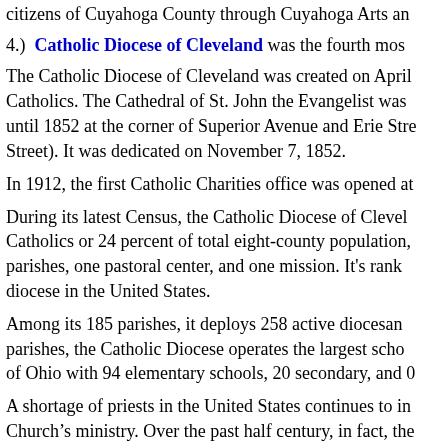citizens of Cuyahoga County through Cuyahoga Arts an
4.)  Catholic Diocese of Cleveland was the fourth mos
The Catholic Diocese of Cleveland was created on April Catholics. The Cathedral of St. John the Evangelist was until 1852 at the corner of Superior Avenue and Erie Stre Street). It was dedicated on November 7, 1852.
In 1912, the first Catholic Charities office was opened at
During its latest Census, the Catholic Diocese of Clevel Catholics or 24 percent of total eight-county population, parishes, one pastoral center, and one mission. It's rank diocese in the United States.
Among its 185 parishes, it deploys 258 active diocesan parishes, the Catholic Diocese operates the largest scho of Ohio with 94 elementary schools, 20 secondary, and 0
A shortage of priests in the United States continues to in Church's ministry. Over the past half century, in fact, the across the U.S. has dropped by about 38 percent — from dioceses and religious orders priests in 1970 to 37,192 i